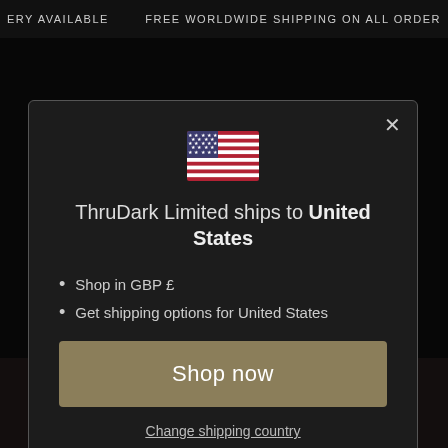ERY AVAILABLE   FREE WORLDWIDE SHIPPING ON ALL ORDER
[Figure (screenshot): US flag emoji icon centered in modal]
ThruDark Limited ships to United States
Shop in GBP £
Get shipping options for United States
Shop now
Change shipping country